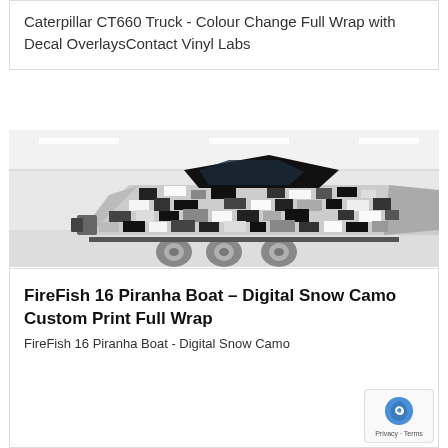Caterpillar CT660 Truck - Colour Change Full Wrap with Decal OverlaysContact Vinyl Labs
[Figure (photo): A speedboat with a black, white, and grey digital snow camouflage vinyl wrap, sitting on a trailer inside a bright white garage/workshop. The boat has a black cabin top and the hull is covered in a pixelated digital camo pattern. The boat is on a dual-axle trailer with grey wheels.]
FireFish 16 Piranha Boat – Digital Snow Camo Custom Print Full Wrap
FireFish 16 Piranha Boat - Digital Snow Camo